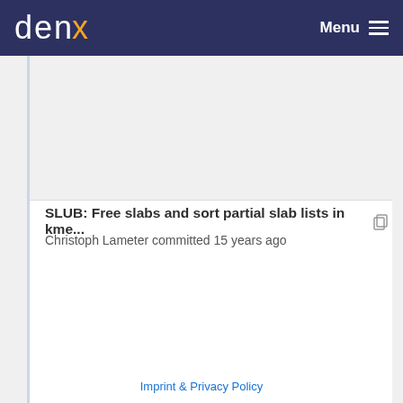denx Menu
SLUB: Free slabs and sort partial slab lists in kme...
Christoph Lameter committed 15 years ago
Imprint & Privacy Policy